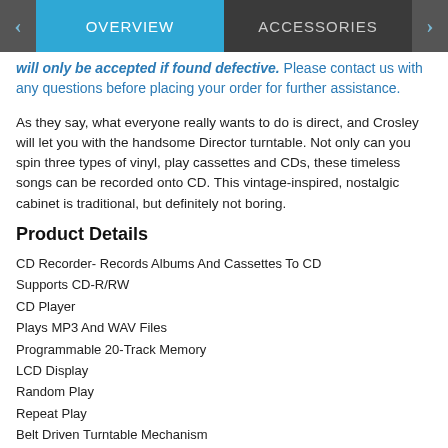OVERVIEW | ACCESSORIES
will only be accepted if found defective. Please contact us with any questions before placing your order for further assistance.
As they say, what everyone really wants to do is direct, and Crosley will let you with the handsome Director turntable. Not only can you spin three types of vinyl, play cassettes and CDs, these timeless songs can be recorded onto CD. This vintage-inspired, nostalgic cabinet is traditional, but definitely not boring.
Product Details
CD Recorder- Records Albums And Cassettes To CD
Supports CD-R/RW
CD Player
Plays MP3 And WAV Files
Programmable 20-Track Memory
LCD Display
Random Play
Repeat Play
Belt Driven Turntable Mechanism
Plays 3 Speeds - 33 1/3, 45 And 78 RPM Records